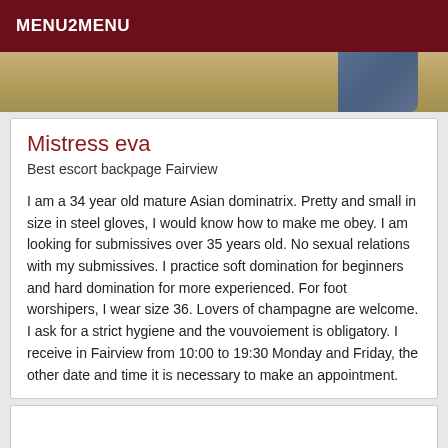MENU2MENU
[Figure (photo): Partial photo strip showing textured beige/tan background with a partial figure visible on the right side]
Mistress eva
Best escort backpage Fairview
I am a 34 year old mature Asian dominatrix. Pretty and small in size in steel gloves, I would know how to make me obey. I am looking for submissives over 35 years old. No sexual relations with my submissives. I practice soft domination for beginners and hard domination for more experienced. For foot worshipers, I wear size 36. Lovers of champagne are welcome. I ask for a strict hygiene and the vouvoiement is obligatory. I receive in Fairview from 10:00 to 19:30 Monday and Friday, the other date and time it is necessary to make an appointment.